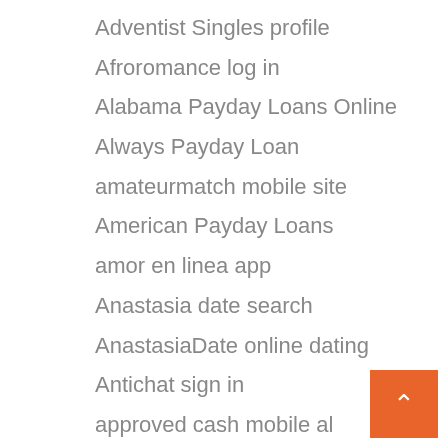Adventist Singles profile
Afroromance log in
Alabama Payday Loans Online
Always Payday Loan
amateurmatch mobile site
American Payday Loans
amor en linea app
Anastasia date search
AnastasiaDate online dating
Antichat sign in
approved cash mobile al
Arkansas Best Online Payday Loans
Arkansas Online Payday Loans
Artistische Dating-Seiten abmelden
ashley madison review